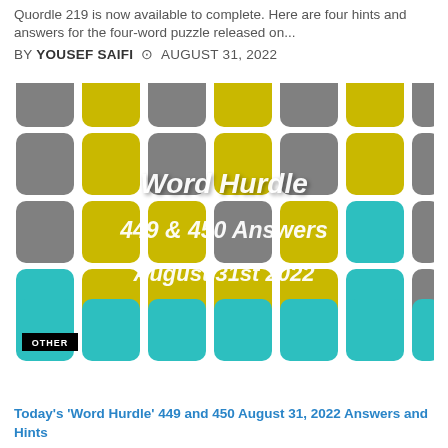Quordle 219 is now available to complete. Here are four hints and answers for the four-word puzzle released on...
BY YOUSEF SAIFI   AUGUST 31, 2022
[Figure (illustration): Word Hurdle branded image with a grid of rounded squares in grey, yellow/olive and teal colors. White bold italic text reads: Word Hurdle / 449 & 450 Answers / August 31st 2022. A black badge in the bottom-left reads OTHER.]
Today's 'Word Hurdle' 449 and 450 August 31, 2022 Answers and Hints